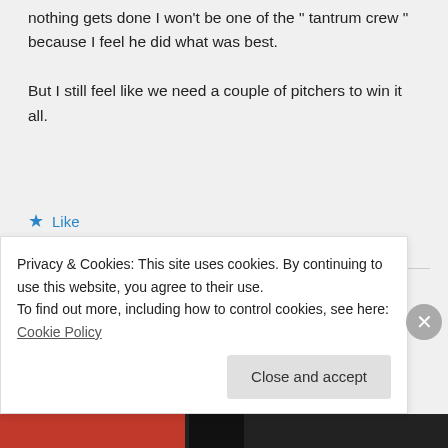nothing gets done I won't be one of the " tantrum crew " because I feel he did what was best.
But I still feel like we need a couple of pitchers to win it all.
Like
Tim on July 27, 2017 at 2:21 pm
That works for me, Sandy. Thank
Privacy & Cookies: This site uses cookies. By continuing to use this website, you agree to their use.
To find out more, including how to control cookies, see here: Cookie Policy